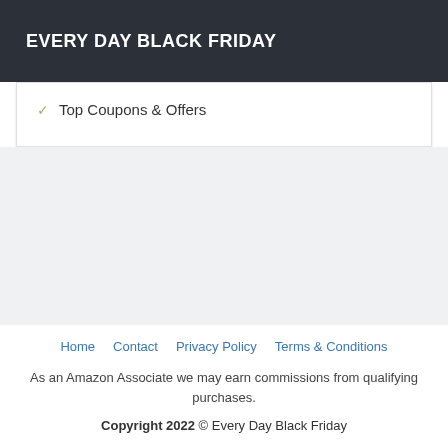EVERY DAY BLACK FRIDAY
Top Coupons & Offers
Home  Contact  Privacy Policy  Terms & Conditions
As an Amazon Associate we may earn commissions from qualifying purchases.
Copyright 2022 © Every Day Black Friday